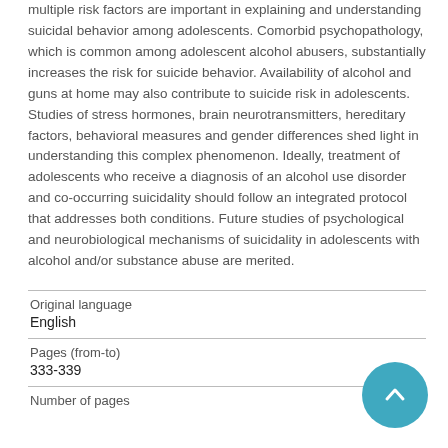multiple risk factors are important in explaining and understanding suicidal behavior among adolescents. Comorbid psychopathology, which is common among adolescent alcohol abusers, substantially increases the risk for suicide behavior. Availability of alcohol and guns at home may also contribute to suicide risk in adolescents. Studies of stress hormones, brain neurotransmitters, hereditary factors, behavioral measures and gender differences shed light in understanding this complex phenomenon. Ideally, treatment of adolescents who receive a diagnosis of an alcohol use disorder and co-occurring suicidality should follow an integrated protocol that addresses both conditions. Future studies of psychological and neurobiological mechanisms of suicidality in adolescents with alcohol and/or substance abuse are merited.
| Original language | English |
| Pages (from-to) | 333-339 |
| Number of pages |  |